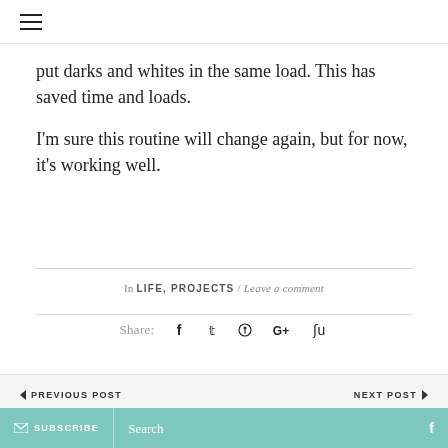☰
put darks and whites in the same load. This has saved time and loads.
I'm sure this routine will change again, but for now, it's working well.
In LIFE, PROJECTS / Leave a comment
Share: f ✦ ⊕ G+ ↑
◄ PREVIOUS POST    NEXT POST ►
✉ SUBSCRIBE   Search   f